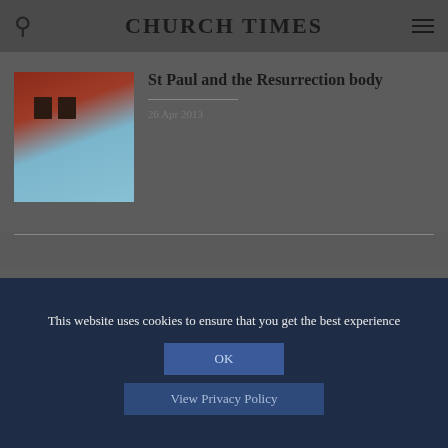CHURCH TIMES
[Figure (photo): Red brick building with dark windows against blue sky - thumbnail image for first article]
St Paul and the Resurrection body
26 Apr 2013
[Figure (photo): Red brick building with dark windows against blue sky - thumbnail image for second article]
Disposal of livestock carcasses by burning
26 Apr 2013
This website uses cookies to ensure that you get the best experience